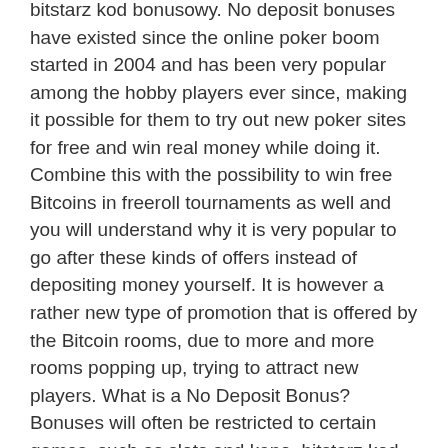bitstarz kod bonusowy. No deposit bonuses have existed since the online poker boom started in 2004 and has been very popular among the hobby players ever since, making it possible for them to try out new poker sites for free and win real money while doing it. Combine this with the possibility to win free Bitcoins in freeroll tournaments as well and you will understand why it is very popular to go after these kinds of offers instead of depositing money yourself. It is however a rather new type of promotion that is offered by the Bitcoin rooms, due to more and more rooms popping up, trying to attract new players. What is a No Deposit Bonus? Bonuses will often be restricted to certain games, such as slots and keno, bitstarz kod bonusowy. Level Up Casino: 15 Free Spins No Deposit + up to 5 BTC Bonus. Exclusive Level Up Casino no deposit bonus ' Get 15 Free Spins no deposit required on 'Star Struck' and